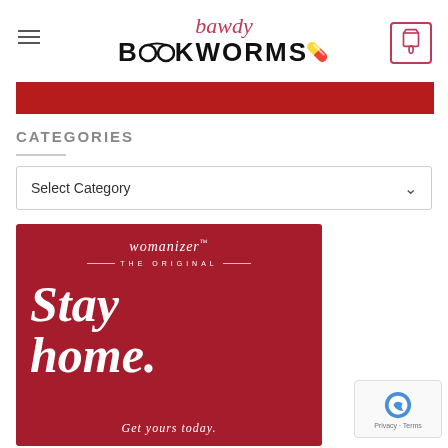bawdy BOOKWORMS
[Figure (screenshot): Red banner image strip at top]
CATEGORIES
Select Category
[Figure (photo): Womanizer 'Stay home. Get yours today.' advertisement on dark red background with hand holding a red device]